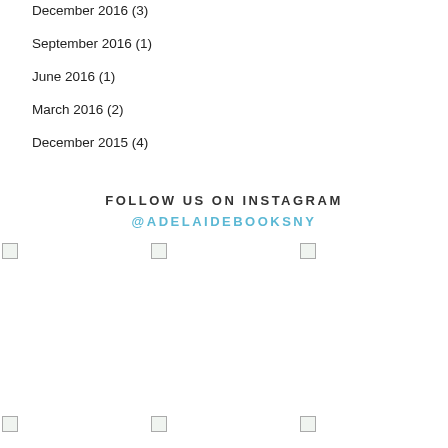December 2016 (3)
September 2016 (1)
June 2016 (1)
March 2016 (2)
December 2015 (4)
FOLLOW US ON INSTAGRAM
@ADELAIDEBOOKSNY
[Figure (photo): Instagram photo placeholder 1 (top row left)]
[Figure (photo): Instagram photo placeholder 2 (top row center)]
[Figure (photo): Instagram photo placeholder 3 (top row right)]
[Figure (photo): Instagram photo placeholder 4 (bottom row left)]
[Figure (photo): Instagram photo placeholder 5 (bottom row center)]
[Figure (photo): Instagram photo placeholder 6 (bottom row right)]